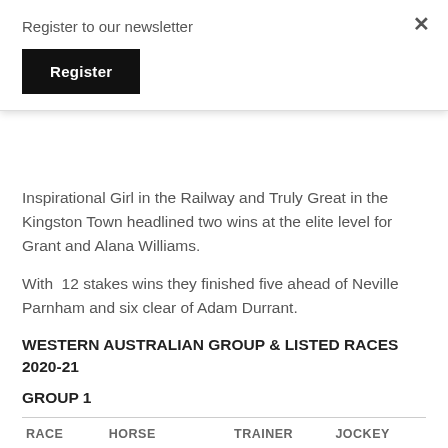Register to our newsletter
Register
Inspirational Girl in the Railway and Truly Great in the Kingston Town headlined two wins at the elite level for Grant and Alana Williams.
With  12 stakes wins they finished five ahead of Neville Parnham and six clear of Adam Durrant.
WESTERN AUSTRALIAN GROUP & LISTED RACES 2020-21
GROUP 1
| RACE | HORSE | TRAINER | JOCKEY |
| --- | --- | --- | --- |
| Railway | Inspirational | G & A | William |